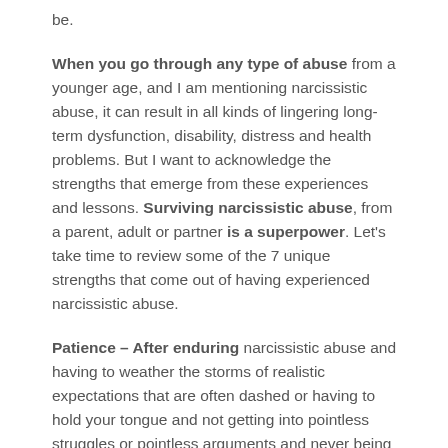be.
When you go through any type of abuse from a younger age, and I am mentioning narcissistic abuse, it can result in all kinds of lingering long-term dysfunction, disability, distress and health problems. But I want to acknowledge the strengths that emerge from these experiences and lessons. Surviving narcissistic abuse, from a parent, adult or partner is a superpower. Let’s take time to review some of the 7 unique strengths that come out of having experienced narcissistic abuse.
Patience – After enduring narcissistic abuse and having to weather the storms of realistic expectations that are often dashed or having to hold your tongue and not getting into pointless struggles or pointless arguments and never being able to speak your truth. You have become a patient expert. But sadly, you have wasted this skill on the